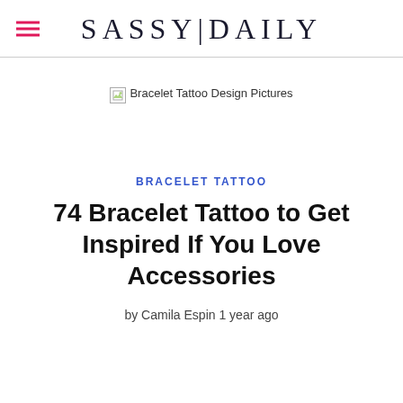SASSY|DAILY
[Figure (photo): Broken image placeholder with alt text 'Bracelet Tattoo Design Pictures']
BRACELET TATTOO
74 Bracelet Tattoo to Get Inspired If You Love Accessories
by Camila Espin 1 year ago